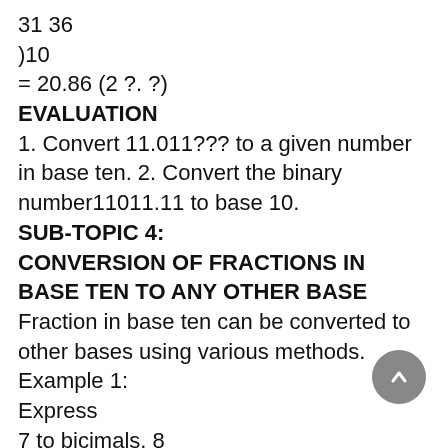31 36
)10
EVALUATION
1. Convert 11.011??? to a given number in base ten. 2. Convert the binary number11011.11 to base 10.
SUB-TOPIC 4:
CONVERSION OF FRACTIONS IN BASE TEN TO ANY OTHER BASE
Fraction in base ten can be converted to other bases using various methods.
Example 1:
Express
7 to bicimals. 8
Solution
Change
7 to decimal fraction i.e 8